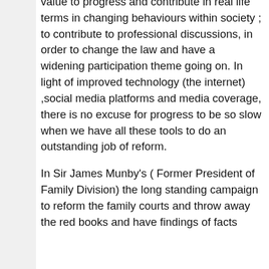value to progress and contribute in real life terms in changing behaviours within society ; to contribute to professional discussions, in order to change the law and have a widening participation theme going on. In light of improved technology (the internet) ,social media platforms and media coverage, there is no excuse for progress to be so slow when we have all these tools to do an outstanding job of reform.
In Sir James Munby's ( Former President of Family Division) the long standing campaign to reform the family courts and throw away the red books and have findings of facts